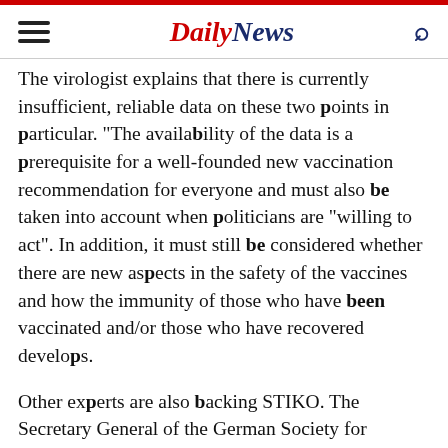DailyNews
The virologist explains that there is currently insufficient, reliable data on these two points in particular. "The availability of the data is a prerequisite for a well-founded new vaccination recommendation for everyone and must also be taken into account when politicians are "willing to act". In addition, it must still be considered whether there are new aspects in the safety of the vaccines and how the immunity of those who have been vaccinated and/or those who have recovered develops.
Other experts are also backing STIKO. The Secretary General of the German Society for Immunology, Carsten Watzl, says that he currently sees no need for a general recommendation for a fourth